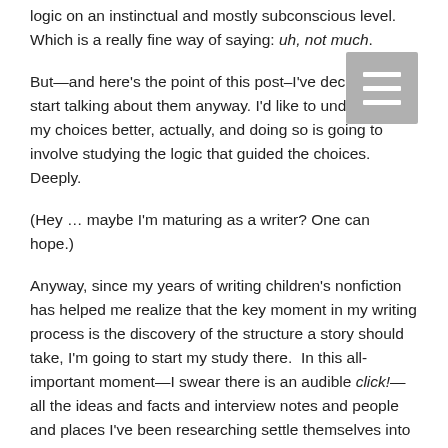logic on an instinctual and mostly subconscious level. Which is a really fine way of saying: uh, not much.
But—and here's the point of this post–I've decided to start talking about them anyway. I'd like to understand my choices better, actually, and doing so is going to involve studying the logic that guided the choices. Deeply.
(Hey … maybe I'm maturing as a writer? One can hope.)
Anyway, since my years of writing children's nonfiction has helped me realize that the key moment in my writing process is the discovery of the structure a story should take, I'm going to start my study there.  In this all-important moment—I swear there is an audible click!—all the ideas and facts and interview notes and people and places I've been researching settle themselves into a clear pattern. A structure. And this structure dictates how